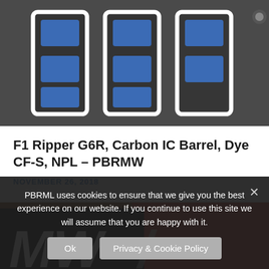[Figure (photo): Close-up photo of paintball jersey/gear showing large number letters with blue and white coloring against dark background]
F1 Ripper G6R, Carbon IC Barrel, Dye CF-S, NPL – PBRMW
NOVEMBER 26, 2018
[Figure (photo): Photo showing 'MW' text on black background with red and green elements visible]
PBRML uses cookies to ensure that we give you the best experience on our website. If you continue to use this site we will assume that you are happy with it.